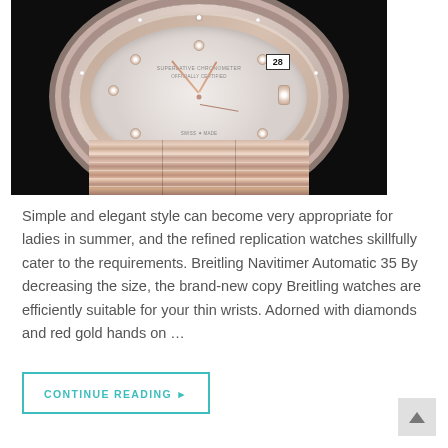[Figure (photo): Close-up photo of a luxury watch (Rolex Datejust style) with mother-of-pearl dial, diamond-set bezel, diamond hour markers, rose gold and steel jubilee bracelet, date window showing '28', on a black background.]
Simple and elegant style can become very appropriate for ladies in summer, and the refined replication watches skillfully cater to the requirements. Breitling Navitimer Automatic 35 By decreasing the size, the brand-new copy Breitling watches are efficiently suitable for your thin wrists. Adorned with diamonds and red gold hands on …
CONTINUE READING ▶